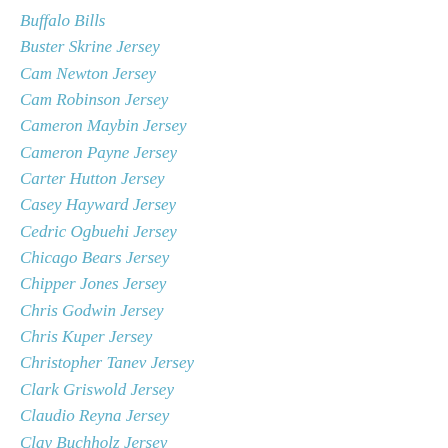Buffalo Bills
Buster Skrine Jersey
Cam Newton Jersey
Cam Robinson Jersey
Cameron Maybin Jersey
Cameron Payne Jersey
Carter Hutton Jersey
Casey Hayward Jersey
Cedric Ogbuehi Jersey
Chicago Bears Jersey
Chipper Jones Jersey
Chris Godwin Jersey
Chris Kuper Jersey
Christopher Tanev Jersey
Clark Griswold Jersey
Claudio Reyna Jersey
Clay Buchholz Jersey
Cody Ceci Jersey
Cody Parkey Jersey